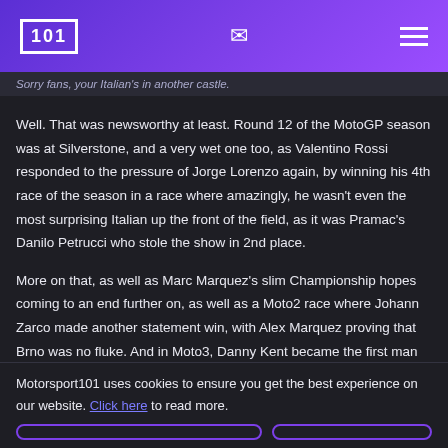101 [logo] | email icon | menu icon
Sorry fans, your Italian's in another castle.
Well. That was newsworthy at least. Round 12 of the MotoGP season was at Silverstone, and a very wet one too, as Valentino Rossi responded to the pressure of Jorge Lorenzo again, by winning his 4th race of the season in a race where amazingly, he wasn't even the most surprising Italian up the front of the field, as it was Pramac's Danilo Petrucci who stole the show in 2nd place.
More on that, as well as Marc Marquez's slim Championship hopes coming to an end further on, as well as a Moto2 race where Johann Zarco made another statement win, with Alex Marquez proving that Brno was no fluke. And in Moto3, Danny Kent became the first man
Motorsport101 uses cookies to ensure you get the best experience on our website. Click here to read more.